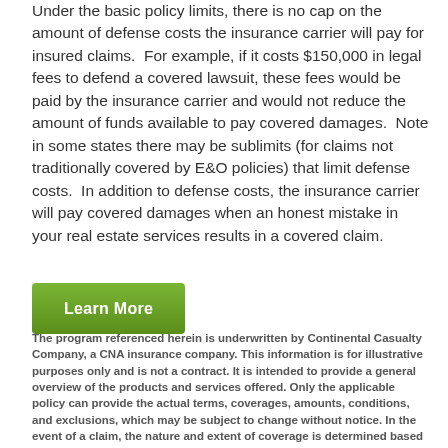Under the basic policy limits, there is no cap on the amount of defense costs the insurance carrier will pay for insured claims.  For example, if it costs $150,000 in legal fees to defend a covered lawsuit, these fees would be paid by the insurance carrier and would not reduce the amount of funds available to pay covered damages.  Note in some states there may be sublimits (for claims not traditionally covered by E&O policies) that limit defense costs.  In addition to defense costs, the insurance carrier will pay covered damages when an honest mistake in your real estate services results in a covered claim.
[Figure (other): Green 'Learn More' button]
The program referenced herein is underwritten by Continental Casualty Company, a CNA insurance company. This information is for illustrative purposes only and is not a contract. It is intended to provide a general overview of the products and services offered. Only the applicable policy can provide the actual terms, coverages, amounts, conditions, and exclusions, which may be subject to change without notice. In the event of a claim, the nature and extent of coverage is determined based upon the claim's facts, circumstances, and allegations and application of the relevant policy's terms, conditions, and exclusions. The E&O program